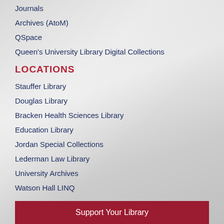Journals
Archives (AtoM)
QSpace
Queen's University Library Digital Collections
LOCATIONS
Stauffer Library
Douglas Library
Bracken Health Sciences Library
Education Library
Jordan Special Collections
Lederman Law Library
University Archives
Watson Hall LINQ
Support Your Library